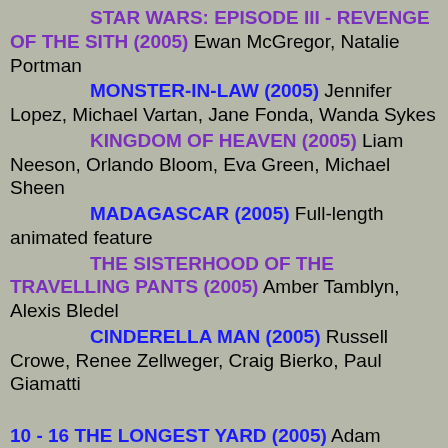STAR WARS: EPISODE III - REVENGE OF THE SITH (2005) Ewan McGregor, Natalie Portman
MONSTER-IN-LAW (2005) Jennifer Lopez, Michael Vartan, Jane Fonda, Wanda Sykes
KINGDOM OF HEAVEN (2005) Liam Neeson, Orlando Bloom, Eva Green, Michael Sheen
MADAGASCAR (2005) Full-length animated feature
THE SISTERHOOD OF THE TRAVELLING PANTS (2005) Amber Tamblyn, Alexis Bledel
CINDERELLA MAN (2005) Russell Crowe, Renee Zellweger, Craig Bierko, Paul Giamatti
10 - 16 THE LONGEST YARD (2005) Adam Sandler, Chris Rock, Terry Crews, Burt Reynolds
LORDS OF DOGTOWN (2005) Heath Ledger, Emile Hirsch, Victor Rasuk, Nikki Reed
STAR WARS: EPISODE III - REVENGE OF THE SITH (2005) Ewan McGregor, Natalie Portman
MONSTER-IN-LAW (2005) Jennifer Lopez, Michael Vartan, Jane Fonda, Wanda Sykes